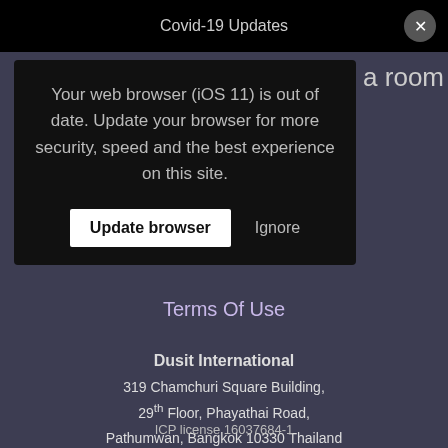Covid-19 Updates
[Figure (screenshot): Browser update warning modal with text: Your web browser (iOS 11) is out of date. Update your browser for more security, speed and the best experience on this site. Buttons: Update browser, Ignore]
Terms Of Use
Dusit International
319 Chamchuri Square Building,
29th Floor, Phayathai Road,
Pathumwan, Bangkok 10330 Thailand
ICP license 16037684-1